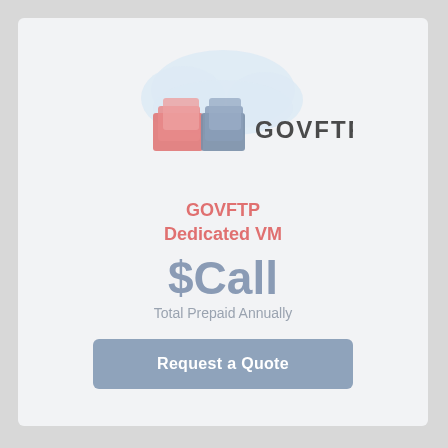[Figure (logo): GOVFTP logo with cloud graphic above and stylized folder/file icon in red and blue-grey, with text GOVFTP to the right]
GOVFTP
Dedicated VM
$Call
Total Prepaid Annually
Request a Quote